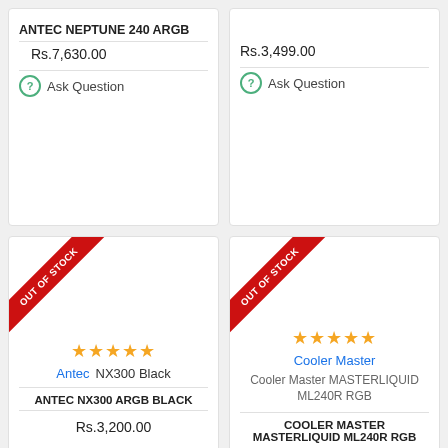ANTEC NEPTUNE 240 ARGB
Rs.7,630.00
Ask Question
Rs.3,499.00
Ask Question
[Figure (other): Product card with OUT OF STOCK ribbon, 5 stars rating, Antec NX300 Black brand, ANTEC NX300 ARGB BLACK title, Rs.3,200.00 price]
[Figure (other): Product card with OUT OF STOCK ribbon, 5 stars rating, Cooler Master brand, Cooler Master MASTERLIQUID ML240R RGB subtitle, COOLER MASTER MASTERLIQUID ML240R RGB title]